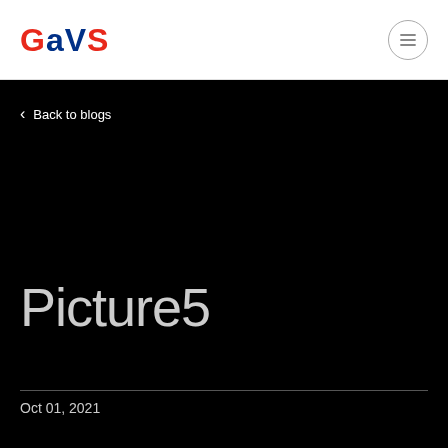GAVS
< Back to blogs
Picture5
Oct 01, 2021